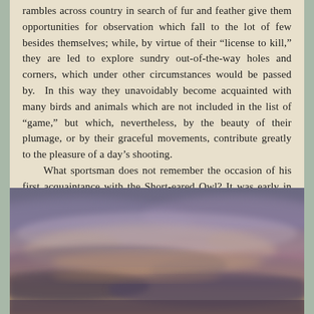rambles across country in search of fur and feather give them opportunities for observation which fall to the lot of few besides themselves; while, by virtue of their “license to kill,” they are led to explore sundry out-of-the-way holes and corners, which under other circumstances would be passed by. In this way they unavoidably become acquainted with many birds and animals which are not included in the list of “game,” but which, nevertheless, by the beauty of their plumage, or by their graceful movements, contribute greatly to the pleasure of a day’s shooting.

What sportsman does not remember the occasion of his first acquaintance with the Short-eared Owl? It was early in October, the weather still fine, but
[Figure (photo): A photograph of a dramatic cloudy sky at dusk or dawn, with warm pinkish-orange and purple hues visible through layered storm clouds.]